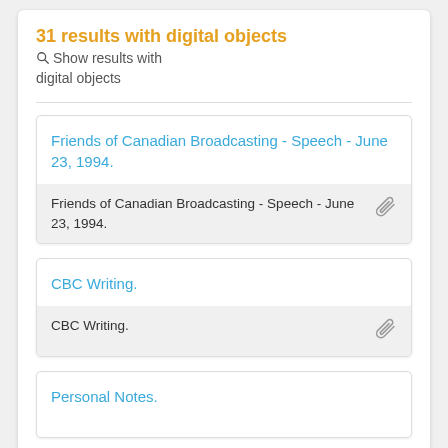31 results with digital objects  Show results with digital objects
Friends of Canadian Broadcasting - Speech - June 23, 1994.
Friends of Canadian Broadcasting - Speech - June 23, 1994.
CBC Writing.
CBC Writing.
Personal Notes.